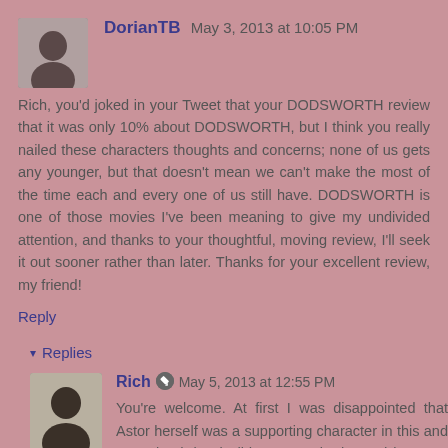DorianTB  May 3, 2013 at 10:05 PM
Rich, you'd joked in your Tweet that your DODSWORTH review that it was only 10% about DODSWORTH, but I think you really nailed these characters thoughts and concerns; none of us gets any younger, but that doesn't mean we can't make the most of the time each and every one of us still have. DODSWORTH is one of those movies I've been meaning to give my undivided attention, and thanks to your thoughtful, moving review, I'll seek it out sooner rather than later. Thanks for your excellent review, my friend!
Reply
▾  Replies
Rich  May 5, 2013 at 12:55 PM
You're welcome. At first I was disappointed that Astor herself was a supporting character in this and not a lead, but it didn't matter in the end because the movie as a whole was astonishing